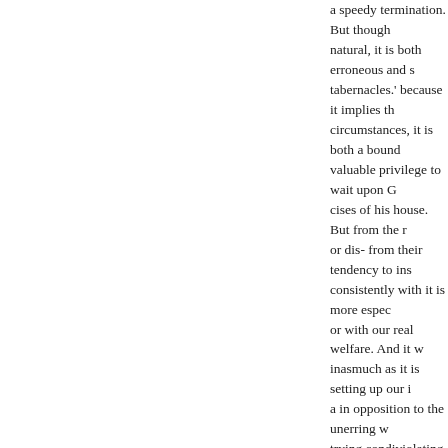a speedy termination. But though natural, it is both erroneous and s tabernacles.' because it implies th circumstances, it is both a bound valuable privilege to wait upon C cises of his house. But from the r or dis- from their tendency to ins consistently with it is more espec or with our real welfare. And it w inasmuch as it is setting up our i a in opposition to the unerring w trying condiviolating his promise the house of God, and deting to b its sacred occupations, can bear t comfort and the advantage which let to impart to the afflicted, but l occasion, we are like He finds in it, let us also like him, humbly m want of knowledge in our minds, of grace in our hearts, and still le to his dejectas he did, that these w life, or in the amusemay be taugh prayers that he offers up in faith sympathies of his Christian breth